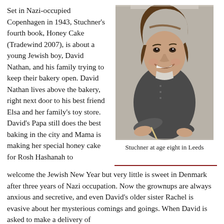Set in Nazi-occupied Copenhagen in 1943, Stuchner's fourth book, Honey Cake (Tradewind 2007), is about a young Jewish boy, David Nathan, and his family trying to keep their bakery open. David Nathan lives above the bakery, right next door to his best friend Elsa and her family's toy store. David's Papa still does the best baking in the city and Mama is making her special honey cake for Rosh Hashanah to
[Figure (photo): Black and white photograph of a young girl (Stuchner) at age eight, smiling at the camera, wearing a cardigan, leaning forward with arms crossed on a surface.]
Stuchner at age eight in Leeds
welcome the Jewish New Year but very little is sweet in Denmark after three years of Nazi occupation. Now the grownups are always anxious and secretive, and even David's older sister Rachel is evasive about her mysterious comings and goings. When David is asked to make a delivery of